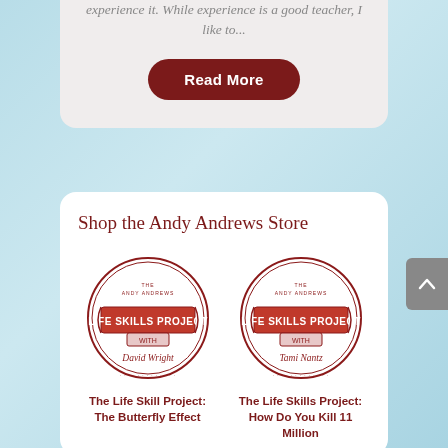experience it. While experience is a good teacher, I like to...
Read More
Shop the Andy Andrews Store
[Figure (logo): Life Skills Project with David Wright circular badge logo in dark red/maroon]
[Figure (logo): Life Skills Project with Tami Nantz circular badge logo in dark red/maroon]
The Life Skill Project: The Butterfly Effect
The Life Skills Project: How Do You Kill 11 Million